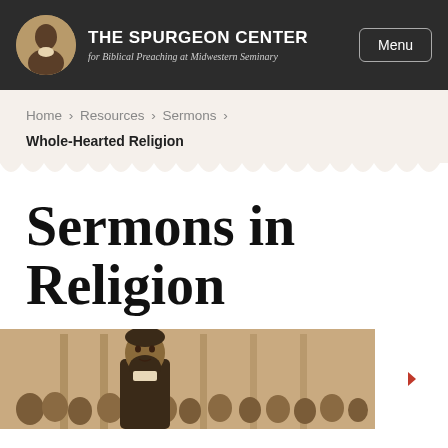THE SPURGEON CENTER for Biblical Preaching at Midwestern Seminary
Home › Resources › Sermons ›
Whole-Hearted Religion
Sermons in Religion
[Figure (illustration): Historical engraving or illustration of a preacher speaking to a congregation, rendered in sepia/brown tones. A bearded man is prominent in the foreground with audience members visible behind him.]